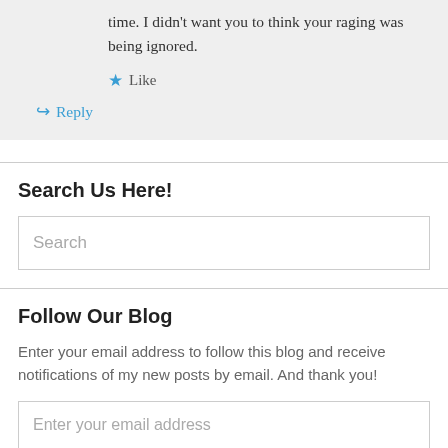time. I didn't want you to think your raging was being ignored.
★ Like
↳ Reply
Search Us Here!
Search
Follow Our Blog
Enter your email address to follow this blog and receive notifications of my new posts by email. And thank you!
Enter your email address